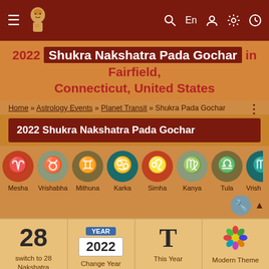Navigation bar with menu, logo, search, En, user, settings, clock icons
2022 Shukra Nakshatra Pada Gochar in Fairfield, Connecticut, United States
Home » Astrology Events » Planet Transit » Shukra Pada Gochar
2022 Shukra Nakshatra Pada Gochar
[Figure (illustration): Row of zodiac sign icons: Mesha, Vrishabha, Mithuna, Karka, Simha, Kanya, Tula, Vrish (partial)]
| switch to 28 Nakshatra | Change Year | This Year | Modern Theme |
| --- | --- | --- | --- |
| 28 | YEAR 2022 | T | (color icon) |